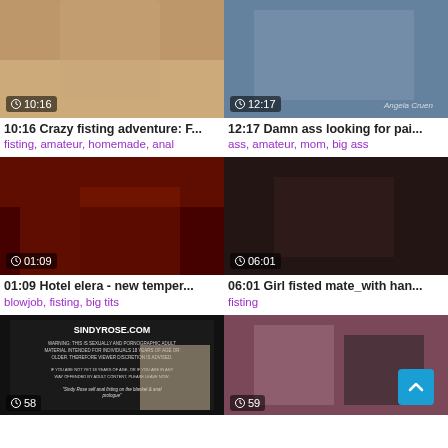[Figure (photo): Video thumbnail: adult content, duration 10:16]
10:16 Crazy fisting adventure: F...
fisting, amateur, homemade, anal
[Figure (photo): Video thumbnail: adult content, duration 12:17]
12:17 Damn ass looking for pai...
ass, amateur, mom, big ass
[Figure (photo): Video thumbnail: animated/3D game content, duration 01:09]
01:09 Hotel elera - new temper...
blowjob, fisting, big tits
[Figure (photo): Video thumbnail: adult content, duration 06:01]
06:01 Girl fisted mate_with han...
fisting
[Figure (photo): Video thumbnail: SINDYROSE.COM warning page with woman, duration 58]
[Figure (photo): Video thumbnail: adult content with woman, duration 59]